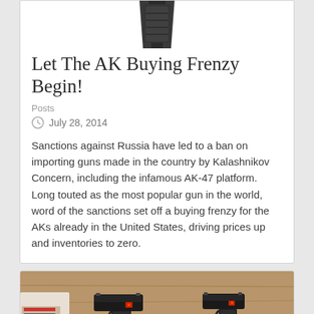[Figure (photo): Top portion of a gun magazine/clip shown at top of first card]
Let The AK Buying Frenzy Begin!
Posts
July 28, 2014
Sanctions against Russia have led to a ban on importing guns made in the country by Kalashnikov Concern, including the infamous AK-47 platform. Long touted as the most popular gun in the world, word of the sanctions set off a buying frenzy for the AKs already in the United States, driving prices up and inventories to zero.
[Figure (photo): Two black handguns with ammunition and paperwork on a wooden table surface]